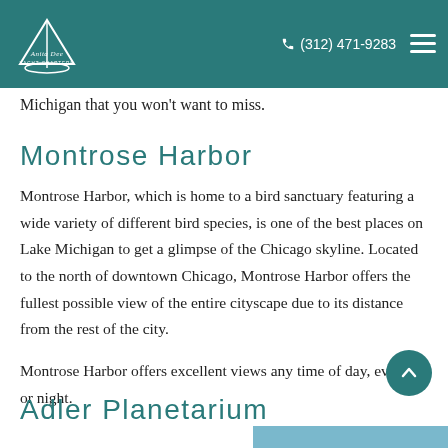Anita Dee Yacht Charters — (312) 471-9283
Michigan that you won't want to miss.
Montrose Harbor
Montrose Harbor, which is home to a bird sanctuary featuring a wide variety of different bird species, is one of the best places on Lake Michigan to get a glimpse of the Chicago skyline. Located to the north of downtown Chicago, Montrose Harbor offers the fullest possible view of the entire cityscape due to its distance from the rest of the city.
Montrose Harbor offers excellent views any time of day, evening, or night.
Adler Planetarium